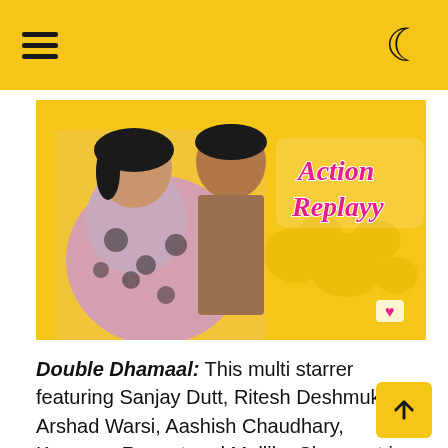Navigation header with hamburger menu and dark mode toggle
[Figure (photo): Movie poster for 'Action Replayy' (Bollywood film) showing two actors — a woman in a floral dress laughing and a man behind her, with 'Action Replayy' text logo on a yellow background with heart shapes]
Double Dhamaal: This multi starrer featuring Sanjay Dutt, Ritesh Deshmukh, Arshad Warsi, Aashish Chaudhary, Kangana Ranaut and Mallika Sherawat is a laugh riot. This film is the second installment of Dhamaal series. Four idlers make elaborate plans to earn money by investing in buildings but are conned by Kabir, who leaves them unemployed and penniless. Soon, they are on the prowl to avenge their humiliation.